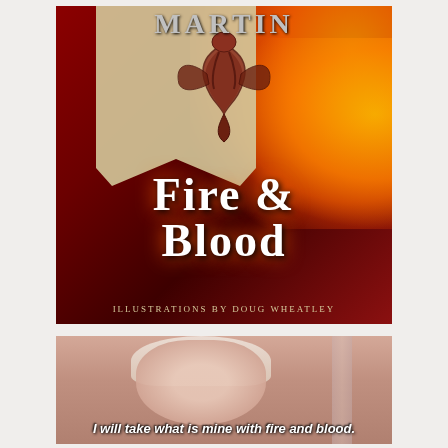[Figure (illustration): Book cover of 'Fire & Blood' by George R.R. Martin. Dark red background with fire and flames on the right side, a banner/flag with a dragon sigil in the center-left, author name 'MARTIN' at top in silver letters, title 'FIRE & BLOOD' in large white serif font, subtitle 'ILLUSTRATIONS BY DOUG WHEATLEY' at bottom.]
[Figure (photo): A screenshot of Daenerys Targaryen (Emilia Clarke) from Game of Thrones, with white/platinum blonde hair, looking upward. Caption at bottom reads: 'I will take what is mine with fire and blood.']